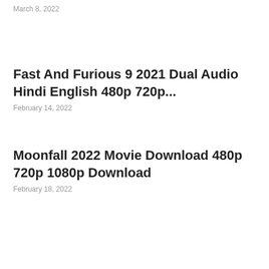March 8, 2022
Fast And Furious 9 2021 Dual Audio Hindi English 480p 720p...
February 14, 2022
Moonfall 2022 Movie Download 480p 720p 1080p Download
February 18, 2022